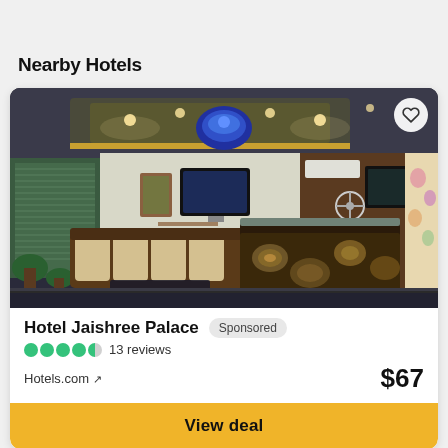Nearby Hotels
[Figure (photo): Hotel lobby interior showing decorative sofa seating, ornate reception desk with patterned marble front, blue chandelier, TV screens, AC units, wall fans, and decorative wall art]
Hotel Jaishree Palace
Sponsored
4 filled circles, 1 half circle — 13 reviews
Hotels.com ↗
$67
View deal